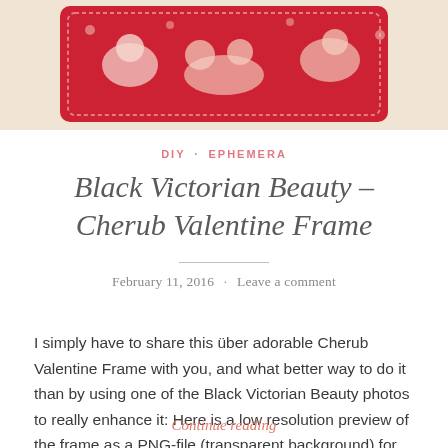[Figure (illustration): Red Victorian cherub Valentine frame card with cream/beige figures on a red background, cropped at top of page]
DIY · EPHEMERA
Black Victorian Beauty – Cherub Valentine Frame
February 11, 2016 · Leave a comment
I simply have to share this über adorable Cherub Valentine Frame with you, and what better way to do it than by using one of the Black Victorian Beauty photos to really enhance it: Here is a low resolution preview of the frame as a PNG-file (transparent background) for you to easily layer with your…
Continue reading